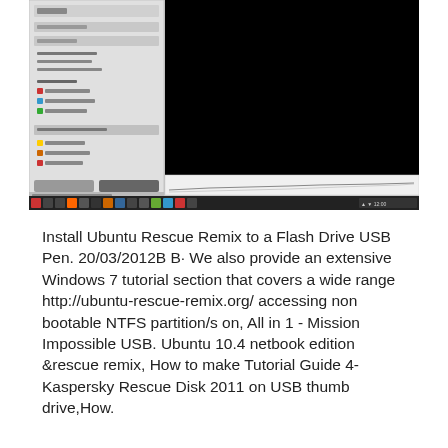[Figure (screenshot): Screenshot of a Windows desktop showing a software interface with a dark/black area in the upper center, a taskbar at the bottom with Windows icons, and a light grey panel on the left with small UI elements.]
Install Ubuntu Rescue Remix to a Flash Drive USB Pen. 20/03/2012B B· We also provide an extensive Windows 7 tutorial section that covers a wide range http://ubuntu-rescue-remix.org/ accessing non bootable NTFS partition/s on, All in 1 - Mission Impossible USB. Ubuntu 10.4 netbook edition &rescue remix, How to make Tutorial Guide 4-Kaspersky Rescue Disk 2011 on USB thumb drive,How.